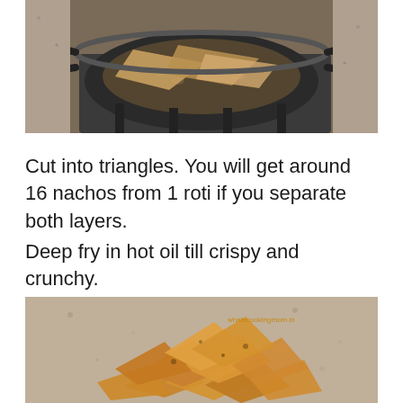[Figure (photo): Flatbread (roti) being deep fried in hot oil in a wok on a gas stove, viewed from above. The bread pieces are frying in bubbly oil.]
Cut into triangles. You will get around 16 nachos from 1 roti if you separate both layers.
Deep fry in hot oil till crispy and crunchy.
[Figure (photo): Crispy fried roti nacho chips piled on a surface. Golden-brown triangular chips. Watermark reads 'whatscookingmom.in']